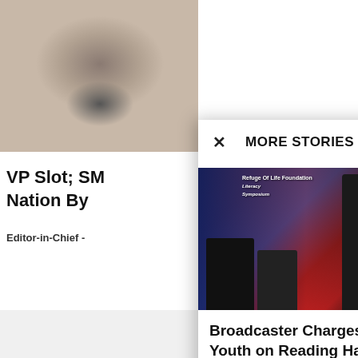[Figure (photo): Partial photo of a person (cropped, partially behind modal), background article page showing title 'VP Slot; SM... Nation By...' and byline 'Editor-in-Chief']
VP Slot; SM
Nation By
Editor-in-Chief -
[Figure (photo): Photo of three people at an event in front of a banner reading 'Refuge Of Life Foundation' and 'READ THE LEADING...' related to a literacy symposium]
Broadcaster Charges Youth on Reading Habit
Editor-in-Chief  -  September 29, 2017
0